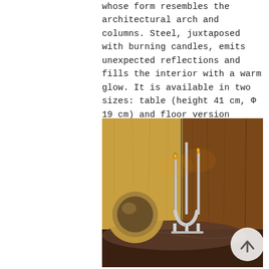whose form resembles the architectural arch and columns. Steel, juxtaposed with burning candles, emits unexpected reflections and fills the interior with a warm glow. It is available in two sizes: table (height 41 cm, Φ 19 cm) and floor version (height 83 cm, Φ 40 cm).
[Figure (photo): A warm-toned interior photo showing a chrome/steel candelabra with three arms holding lit candles, placed on a dark marble surface. To the left is a round mirror with gold/brass frame. The background shows wooden cabinet panels.]